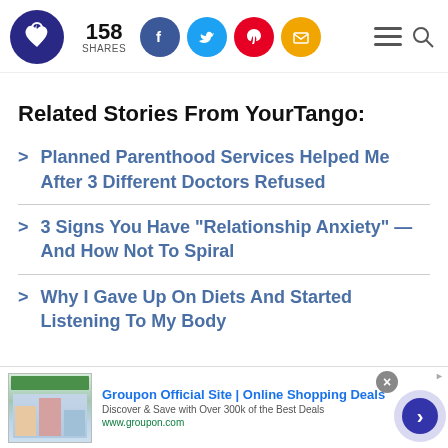YourTango logo | 158 SHARES | Social share icons | Navigation
Related Stories From YourTango:
Planned Parenthood Services Helped Me After 3 Different Doctors Refused
3 Signs You Have "Relationship Anxiety" — And How Not To Spiral
Why I Gave Up On Diets And Started Listening To My Body
[Figure (screenshot): Groupon advertisement banner at bottom of page showing Groupon Official Site | Online Shopping Deals]